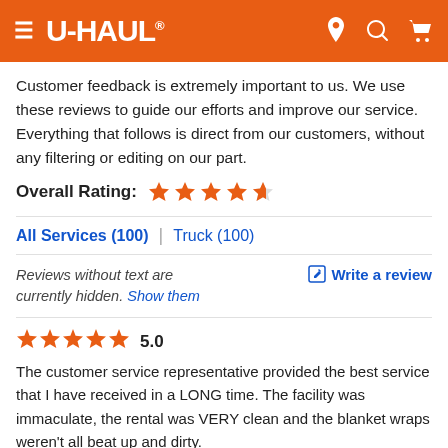[Figure (logo): U-Haul orange header with hamburger menu, U-HAUL logo, and icons for location, search, and cart]
Customer feedback is extremely important to us. We use these reviews to guide our efforts and improve our service. Everything that follows is direct from our customers, without any filtering or editing on our part.
Overall Rating: ★★★★½
All Services (100)  |  Truck (100)
Reviews without text are currently hidden. Show them   ✎ Write a review
★★★★★ 5.0
The customer service representative provided the best service that I have received in a LONG time. The facility was immaculate, the rental was VERY clean and the blanket wraps weren't all beat up and dirty.
— Patrena R.  (8/19/2022)